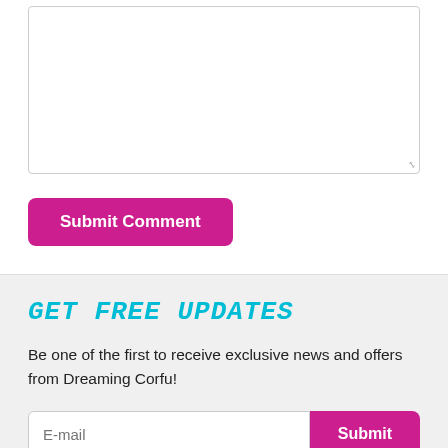[Figure (screenshot): A textarea input box with a resize handle in the bottom-right corner, used for entering a comment.]
Submit Comment
GET FREE UPDATES
Be one of the first to receive exclusive news and offers from Dreaming Corfu!
E-mail
Submit